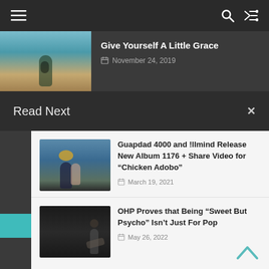[Figure (screenshot): Navigation bar with hamburger menu, search icon, and shuffle icon on dark background]
[Figure (photo): Article thumbnail showing a person at a beach]
Give Yourself A Little Grace
November 24, 2019
Read Next
[Figure (photo): Couple at the beach, man wearing colorful beanie hat embracing woman]
Guapdad 4000 and !llmind Release New Album 1176 + Share Video for “Chicken Adobo”
March 19, 2021
[Figure (photo): Musician playing guitar on dark stage]
OHP Proves that Being “Sweet But Psycho” Isn’t Just For Pop
May 26, 2022